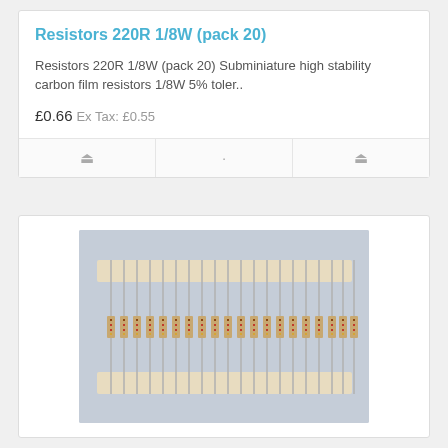Resistors 220R 1/8W (pack 20)
Resistors 220R 1/8W (pack 20) Subminiature high stability carbon film resistors 1/8W 5% toler..
£0.66
Ex Tax: £0.55
[Figure (photo): Photo of a pack of 20 carbon film resistors (220R 1/8W) taped together in a strip on a light grey background. The resistors have beige/tan bodies with copper leads and colored bands visible.]